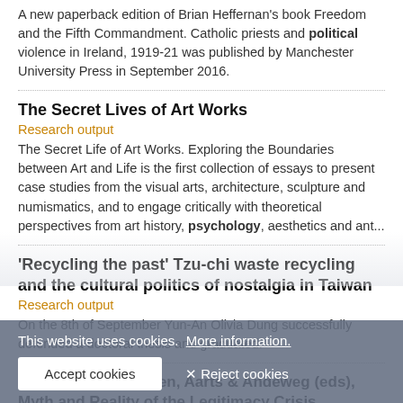A new paperback edition of Brian Heffernan's book Freedom and the Fifth Commandment. Catholic priests and political violence in Ireland, 1919-21 was published by Manchester University Press in September 2016.
The Secret Lives of Art Works
Research output
The Secret Life of Art Works. Exploring the Boundaries between Art and Life is the first collection of essays to present case studies from the visual arts, architecture, sculpture and numismatics, and to engage critically with theoretical perspectives from art history, psychology, aesthetics and ant...
'Recycling the past' Tzu-chi waste recycling and the cultural politics of nostalgia in Taiwan
Research output
On the 8th of September Yun-An Olivia Dung successfully defended a doctoral thesis and graduated.
Van Ham, Thomassen, Aarts & Andeweg (eds), Myth and Reality of the Legitimacy Crisis
...evaluates the empirical evidence for...the explanatory power of theories of legitimacy decline, and promises new routes in...